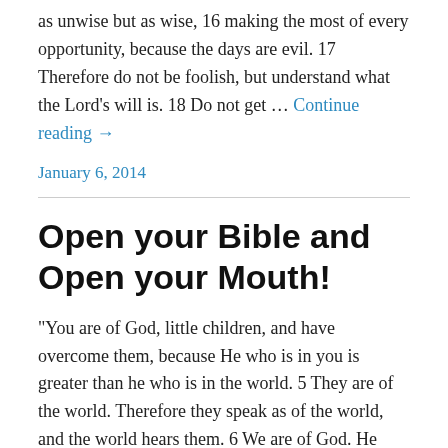as unwise but as wise, 16 making the most of every opportunity, because the days are evil. 17 Therefore do not be foolish, but understand what the Lord's will is. 18 Do not get … Continue reading →
January 6, 2014
Open your Bible and Open your Mouth!
"You are of God, little children, and have overcome them, because He who is in you is greater than he who is in the world. 5 They are of the world. Therefore they speak as of the world, and the world hears them. 6 We are of God. He who knows God hears us; he who is not of God does not hear us..." 1 … Continue reading →